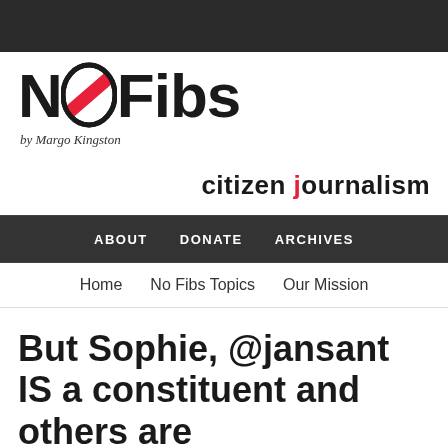[Figure (logo): No Fibs logo with stylized O in red/pink diagonal stripe, bold black text 'NoFibs', subtitle 'by Margo Kingston']
citizen journalism
ABOUT   DONATE   ARCHIVES
Home   No Fibs Topics   Our Mission
But Sophie, @jansant IS a constituent and others are